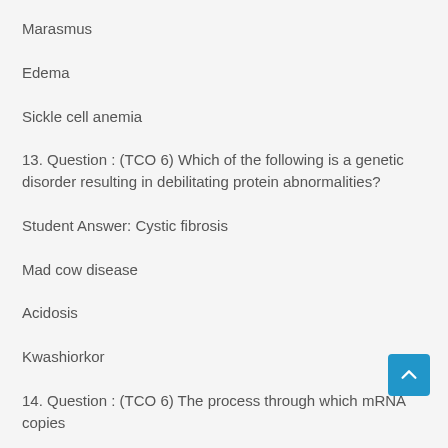Marasmus
Edema
Sickle cell anemia
13. Question : (TCO 6) Which of the following is a genetic disorder resulting in debilitating protein abnormalities?
Student Answer: Cystic fibrosis
Mad cow disease
Acidosis
Kwashiorkor
14. Question : (TCO 6) The process through which mRNA copies